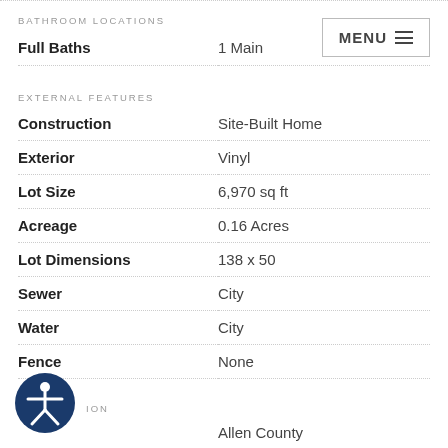BATHROOM LOCATIONS
| Field | Value |
| --- | --- |
| Full Baths | 1 Main |
EXTERNAL FEATURES
| Field | Value |
| --- | --- |
| Construction | Site-Built Home |
| Exterior | Vinyl |
| Lot Size | 6,970 sq ft |
| Acreage | 0.16 Acres |
| Lot Dimensions | 138 x 50 |
| Sewer | City |
| Water | City |
| Fence | None |
ION
| Field | Value |
| --- | --- |
|  | Allen County |
[Figure (illustration): Accessibility icon: blue circle with white figure of a person with arms and legs outstretched]